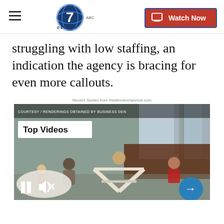Denver7 | Watch Now
struggling with low staffing, an indication the agency is bracing for even more callouts.
Recent Stories from thedenverchanncel.com
[Figure (screenshot): Video player showing people in a family-friendly lounge space with a 'Top Videos' badge, pause/mute controls, and a next arrow button.]
The Den, a family-friendly lounge, is opening in the Highlands